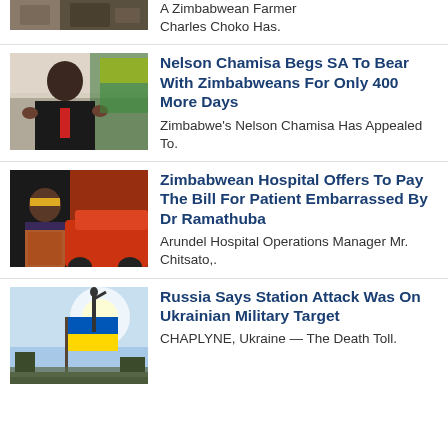[Figure (photo): Partial news item image at top of page (cropped)]
A Zimbabwean Farmer Charles Choko Has.
[Figure (photo): Photo of Nelson Chamisa gesturing with hands, wearing red tie, Zimbabwe flag in background]
Nelson Chamisa Begs SA To Bear With Zimbabweans For Only 400 More Days
Zimbabwe's Nelson Chamisa Has Appealed To.
[Figure (photo): Photo of a woman in colorful attire with a vehicle in background]
Zimbabwean Hospital Offers To Pay The Bill For Patient Embarrassed By Dr Ramathuba
Arundel Hospital Operations Manager Mr. Chitsato,.
[Figure (photo): Photo of Ukrainian flag with monument/statue silhouette against bright sky]
Russia Says Station Attack Was On Ukrainian Military Target
CHAPLYNE, Ukraine — The Death Toll.